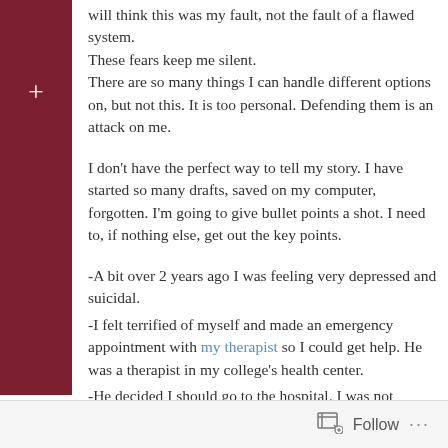will think this was my fault, not the fault of a flawed system.
These fears keep me silent.
There are so many things I can handle different options on, but not this. It is too personal. Defending them is an attack on me.
I don't have the perfect way to tell my story. I have started so many drafts, saved on my computer, forgotten. I'm going to give bullet points a shot. I need to, if nothing else, get out the key points.
-A bit over 2 years ago I was feeling very depressed and suicidal.
-I felt terrified of myself and made an emergency appointment with my therapist so I could get help. He was a therapist in my college's health center.
-He decided I should go to the hospital. I was not
Follow ...